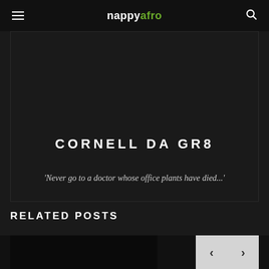nappyafro
CORNELL DA GR8
'Never go to a doctor whose office plants have died...'
RELATED POSTS
[Figure (photo): Dark image strip at the bottom of the page showing a related posts image thumbnail on the left, and left/right navigation arrow buttons in a light grey box on the right.]